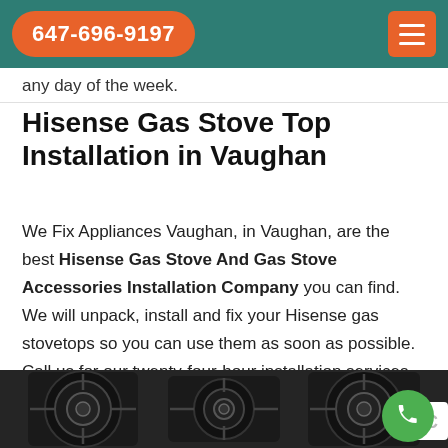647-696-9197
any day of the week.
Hisense Gas Stove Top Installation in Vaughan
We Fix Appliances Vaughan, in Vaughan, are the best Hisense Gas Stove And Gas Stove Accessories Installation Company you can find. We will unpack, install and fix your Hisense gas stovetops so you can use them as soon as possible. Call us for our twenty-four-hour installation services.
[Figure (photo): Close-up photo of a black Hisense gas stove top showing three burners with metal grates on a dark surface]